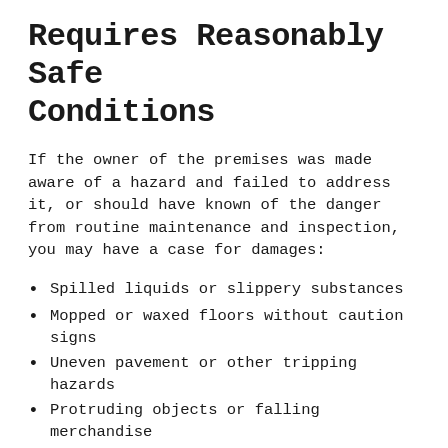Requires Reasonably Safe Conditions
If the owner of the premises was made aware of a hazard and failed to address it, or should have known of the danger from routine maintenance and inspection, you may have a case for damages:
Spilled liquids or slippery substances
Mopped or waxed floors without caution signs
Uneven pavement or other tripping hazards
Protruding objects or falling merchandise
Slip and falls at boat marinas
Broken stairs or railings
Assault and other injuries due to poor security